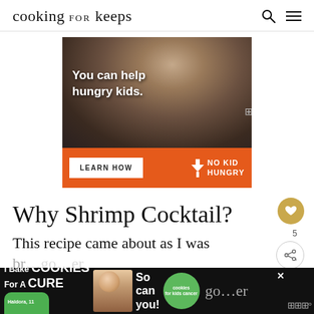cooking for keeps
[Figure (photo): No Kid Hungry advertisement banner showing a young boy eating, with text 'You can help hungry kids.' and a 'LEARN HOW' button on an orange bar with No Kid Hungry logo]
Why Shrimp Cocktail?
This recipe came about as I was br...go...er
[Figure (photo): Bottom banner ad: 'I Bake COOKIES For A CURE' with Haldora, 11 Cancer Survivor, 'So can you!' and cookies for kids cancer badge]